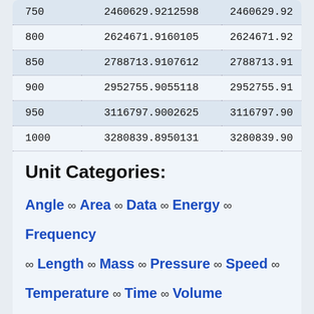|  |  |  |
| --- | --- | --- |
| 750 | 2460629.9212598 | 2460629.92 |
| 800 | 2624671.9160105 | 2624671.92 |
| 850 | 2788713.9107612 | 2788713.91 |
| 900 | 2952755.9055118 | 2952755.91 |
| 950 | 3116797.9002625 | 3116797.90 |
| 1000 | 3280839.8950131 | 3280839.90 |
Unit Categories:
Angle ∞ Area ∞ Data ∞ Energy ∞ Frequency ∞ Length ∞ Mass ∞ Pressure ∞ Speed ∞ Temperature ∞ Time ∞ Volume